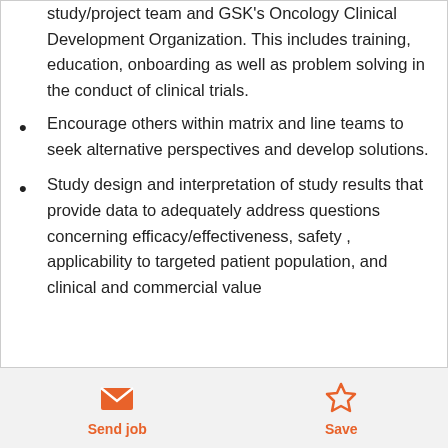study/project team and GSK's Oncology Clinical Development Organization. This includes training, education, onboarding as well as problem solving in the conduct of clinical trials.
Encourage others within matrix and line teams to seek alternative perspectives and develop solutions.
Study design and interpretation of study results that provide data to adequately address questions concerning efficacy/effectiveness, safety , applicability to targeted patient population, and clinical and commercial value
Send job   Save